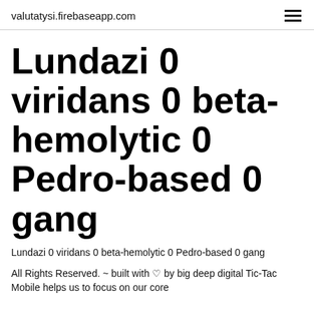valutatysi.firebaseapp.com
Lundazi 0 viridans 0 beta-hemolytic 0 Pedro-based 0 gang
Lundazi 0 viridans 0 beta-hemolytic 0 Pedro-based 0 gang
All Rights Reserved. ~ built with ♡ by big deep digital Tic-Tac Mobile helps us to focus on our core